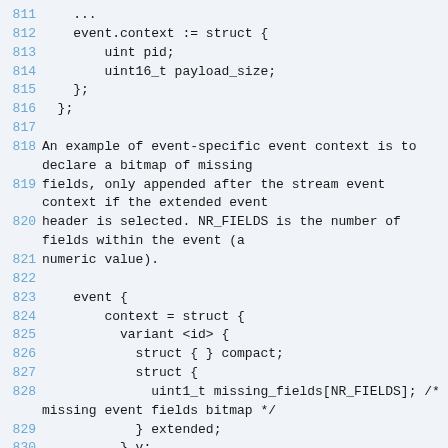Code listing lines 811-831 showing event context struct definitions and commentary about event-specific event context with missing fields bitmap example.